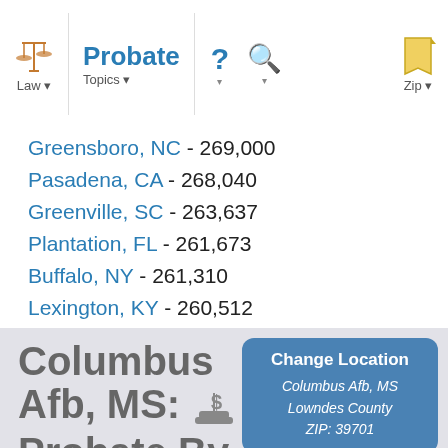Law | Probate | Topics | ? | Search | Zip
Greensboro, NC - 269,000
Pasadena, CA - 268,040
Greenville, SC - 263,637
Plantation, FL - 261,673
Buffalo, NY - 261,310
Lexington, KY - 260,512
Columbus Afb, MS: Probate By ZipCode
Change Location
Columbus Afb, MS
Lowndes County
ZIP: 39701